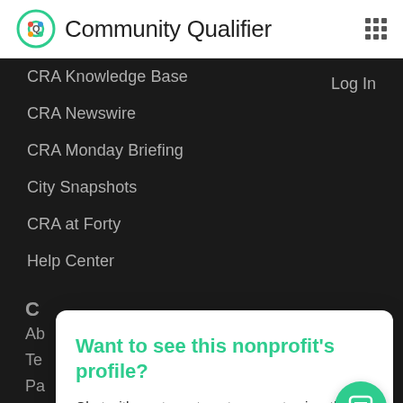Community Qualifier
CRA Knowledge Base
Log In
CRA Newswire
CRA Monday Briefing
City Snapshots
CRA at Forty
Help Center
C
Ab
Te
Pa
Ca
Pr
Want to see this nonprofit's profile?
Chat with our team to get access to view this profile and thousands of other CRA-aligned nonprofits on Community Qualifier. Submit your chat request and we'll be in touch.